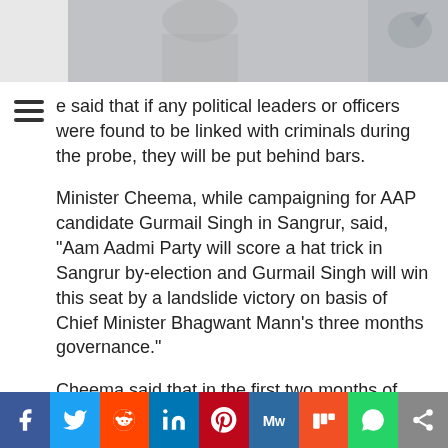[Figure (photo): Partial photo of person(s), cropped at top, light grey/white tones with a bird image on the right side]
e said that if any political leaders or officers were found to be linked with criminals during the probe, they will be put behind bars.
Minister Cheema, while campaigning for AAP candidate Gurmail Singh in Sangrur, said, "Aam Aadmi Party will score a hat trick in Sangrur by-election and Gurmail Singh will win this seat by a landslide victory on basis of Chief Minister Bhagwant Mann's three months governance."
Cheema said that in the first two months of Mann government, 26454 job advertisements were issued for unemployed youth, Rs 1500 per acre incentive for direct sowing of paddy, free ration to households, 300 units of free electricity and other decisions were taken by the government in just three months.
[Figure (infographic): Social media sharing bar with icons: Facebook, Twitter, Reddit, LinkedIn, Pinterest, MeWe, Mix, WhatsApp, Share]